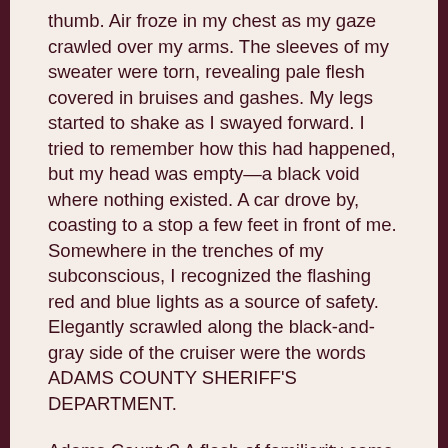thumb. Air froze in my chest as my gaze crawled over my arms. The sleeves of my sweater were torn, revealing pale flesh covered in bruises and gashes. My legs started to shake as I swayed forward. I tried to remember how this had happened, but my head was empty—a black void where nothing existed. A car drove by, coasting to a stop a few feet in front of me. Somewhere in the trenches of my subconscious, I recognized the flashing red and blue lights as a source of safety. Elegantly scrawled along the black-and-gray side of the cruiser were the words ADAMS COUNTY SHERIFF'S DEPARTMENT.
Adams County? A flash of familiarity came and went.
The driver's door opened, and a deputy